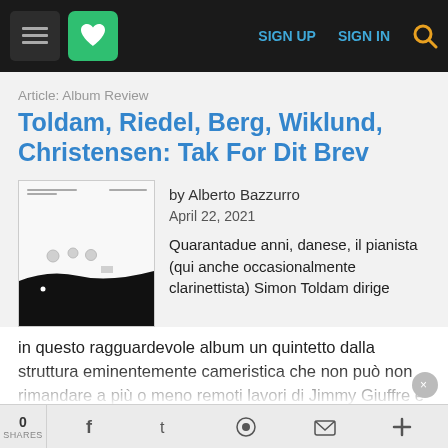SIGN UP  SIGN IN
Article: Album Review
Toldam, Riedel, Berg, Wiklund, Christensen: Tak For Dit Brev
[Figure (photo): Album cover for Tak For Dit Brev — white upper portion with small abstract shapes, black lower portion.]
by Alberto Bazzurro
April 22, 2021
Quarantadue anni, danese, il pianista (qui anche occasionalmente clarinettista) Simon Toldam dirige in questo ragguardevole album un quintetto dalla struttura eminentemente cameristica che non può non rimandare a più o meno remoti lavori di Jimmy Giuffre e di un certo comasolo /Shorty Rogers
0 SHARES  f  t  reddit  mail  +